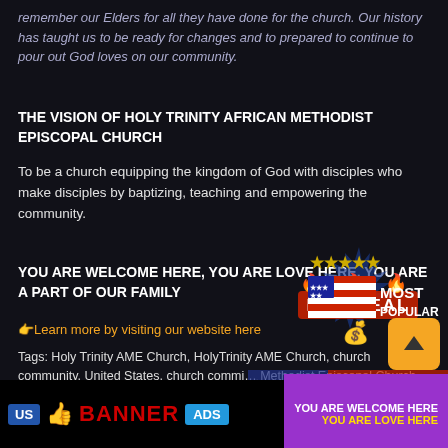remember our Elders for all they have done for the church. Our history has taught us to be ready for changes and to prepared to continue to pour out God loves on our community.
THE VISION OF HOLY TRINITY AFRICAN METHODIST EPISCOPAL CHURCH
To be a church equipping the kingdom of God with disciples who make disciples by baptizing, teaching and empowering the community.
YOU ARE WELCOME HERE, YOU ARE LOVE HERE, YOU ARE A PART OF OUR FAMILY
👉 Learn more by visiting our website here
Tags: Holy Trinity AME Church, HolyTrinity AME Church, church community, United States, church community, African Methodist Episcopal Church, A.M.E. church community, Kent County Maryland AME church, African Methodist Episcopal Church in Kent County Maryland, religion, Jesus Christ, Christianity, AME church community, A.M.E. church community, Community A.M.E Chur…
[Figure (infographic): Hot deal badge with fire emojis and dollar sign, overlaid on the page]
[Figure (infographic): Most Popular badge with stars and American flag stripes]
[Figure (infographic): American flag waving, partially transparent, overlaid on tags section]
[Figure (infographic): Bottom banner with US badge, thumbs up, BANNER ADS text, and YOU ARE WELCOME HERE / YOU ARE LOVE HERE text]
[Figure (infographic): Orange scroll-to-top button with upward arrow]